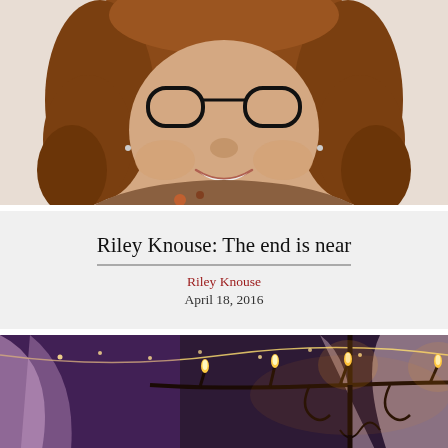[Figure (photo): Portrait photo of a young woman with curly auburn hair, wearing black-rimmed glasses and a floral top, smiling at the camera against a light background.]
Riley Knouse: The end is near
Riley Knouse
April 18, 2016
[Figure (photo): Photo of an elegant event venue decorated with draped purple and white fabric, string lights, and an ornate black candelabra with lit candles hanging from the ceiling.]